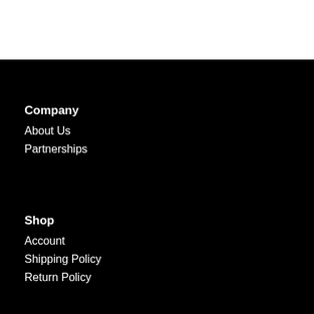Company
About Us
Partnerships
Shop
Account
Shipping Policy
Return Policy